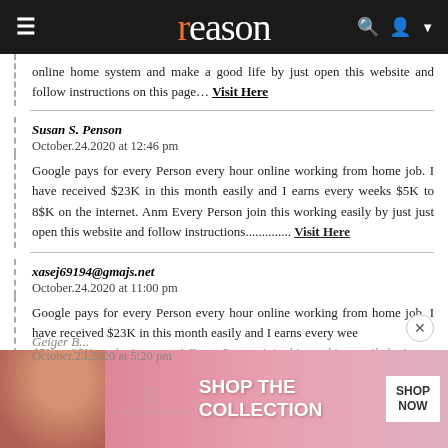reason
online home system and make a good life by just open this website and follow instructions on this page… Visit Here
Susan S. Penson
October.24.2020 at 12:46 pm
Google pays for every Person every hour online working from home job. I have received $23K in this month easily and I earns every weeks $5K to 8$K on the internet. Anm Every Person join this working easily by just just open this website and follow instructions.............. Visit Here
xasej69194@gmajs.net
October.24.2020 at 11:00 pm
Google pays for every Person every hour online working from home job. I have received $23K in this month easily and I earns every weeks $5K to 8$K on the internet. A Every Person join this working easily by just just open this website and follow instructions Visit Here
Geiger B...
October.23.2020 at 5:20 pm
[Figure (photo): Victoria's Secret advertisement banner with model and SHOP THE COLLECTION text]